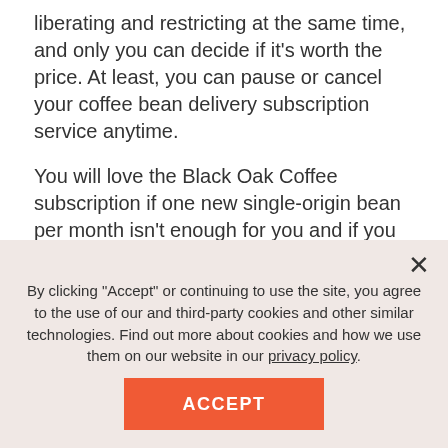liberating and restricting at the same time, and only you can decide if it's worth the price. At least, you can pause or cancel your coffee bean delivery subscription service anytime.
You will love the Black Oak Coffee subscription if one new single-origin bean per month isn't enough for you and if you appreciate Ethiopian java. However, if you crave specific customization options to set the ideal frequency, quantity, and roast, you might better look at othe
By clicking "Accept" or continuing to use the site, you agree to the use of our and third-party cookies and other similar technologies. Find out more about cookies and how we use them on our website in our privacy policy.